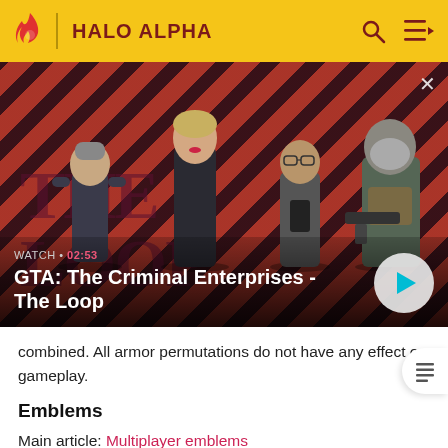HALO ALPHA
[Figure (screenshot): GTA: The Criminal Enterprises - The Loop video thumbnail with four characters on a red diagonal striped background. Shows WATCH • 02:53 label and a play button.]
combined. All armor permutations do not have any effects on gameplay.
Emblems
Main article: Multiplayer emblems